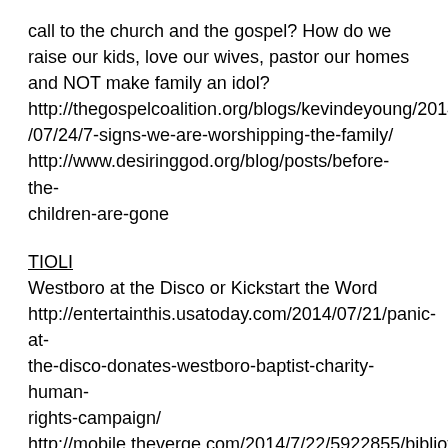call to the church and the gospel? How do we raise our kids, love our wives, pastor our homes and NOT make family an idol?
http://thegospelcoalition.org/blogs/kevindeyoung/2014/07/24/7-signs-we-are-worshipping-the-family/
http://www.desiringgod.org/blog/posts/before-the-children-are-gone
TIOLI
Westboro at the Disco or Kickstart the Word
http://entertainthis.usatoday.com/2014/07/21/panic-at-the-disco-donates-westboro-baptist-charity-human-rights-campaign/
http://mobile.theverge.com/2014/7/22/5922855/bibliotheca-bible-kickstarter-campaign-adam-greene-interview
Middle-Class Clergy or Shades of Parenting
http://m.theatlantic.com/business/archive/2014/07/high